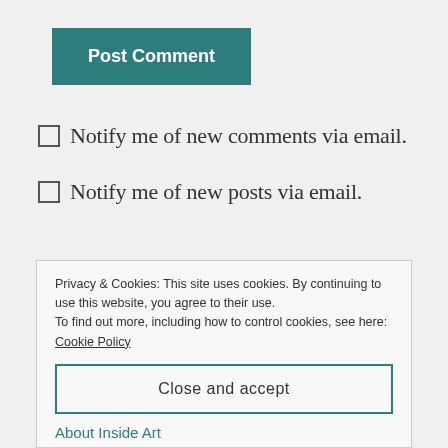Post Comment
Notify me of new comments via email.
Notify me of new posts via email.
Privacy & Cookies: This site uses cookies. By continuing to use this website, you agree to their use.
To find out more, including how to control cookies, see here: Cookie Policy
Close and accept
About Inside Art